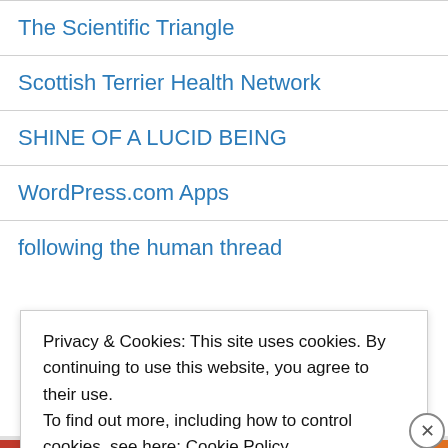The Scientific Triangle
Scottish Terrier Health Network
SHINE OF A LUCID BEING
WordPress.com Apps
following the human thread
Privacy & Cookies: This site uses cookies. By continuing to use this website, you agree to their use.
To find out more, including how to control cookies, see here: Cookie Policy
Close and accept